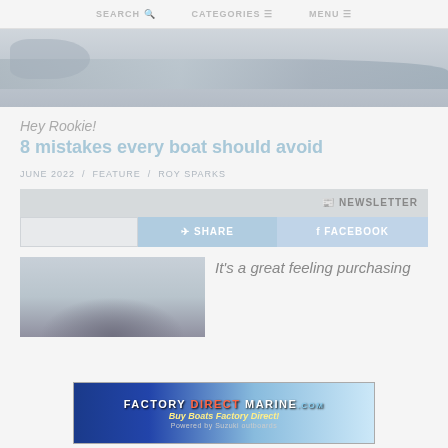SEARCH   CATEGORIES   MENU
[Figure (photo): Hero banner image showing a mountain/water landscape scene with muted blue-grey tones]
Hey Rookie!
8 mistakes every boat should avoid
JUNE 2022  /  FEATURE  /  ROY SPARKS
NEWSLETTER
SHARE
FACEBOOK
[Figure (photo): Photo of a boat hull/dark vessel on water with sky background]
It's a great feeling purchasing
[Figure (other): Factory Direct Marine advertisement banner — Buy Boats Factory Direct! with Suzuki Marine and Ultimate logos]